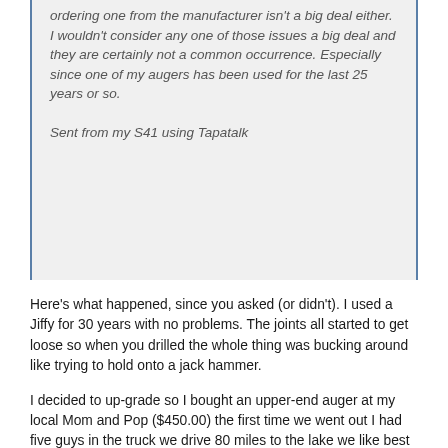ordering one from the manufacturer isn't a big deal either. I wouldn't consider any one of those issues a big deal and they are certainly not a common occurrence. Especially since one of my augers has been used for the last 25 years or so.

Sent from my S41 using Tapatalk
Here's what happened, since you asked (or didn't). I used a Jiffy for 30 years with no problems. The joints all started to get loose so when you drilled the whole thing was bucking around like trying to hold onto a jack hammer.
I decided to up-grade so I bought an upper-end auger at my local Mom and Pop ($450.00) the first time we went out I had five guys in the truck we drive 80 miles to the lake we like best and start drilling holes to find the depth we want to fish at. On the third start, the plastic rewind comes off of the power head. It's thirty to thirty five below, the wind was howling like it does on Quartz lake.
We were going to set-up one of my stationary houses that require 6 holes equally spaced. We weren't able to do that, we had no choice but to drive all the way back home. It was Christmas eve so the store wasn't open when we got back to Fairbanks. The next business day I brought the machine back to the store where I bought it so I could trade it in and get a machine with a metal rewind housing. The guy there said, "I'm sorry sir, there's nothing I can do for you, you have to bring it to the warranty guy in town to